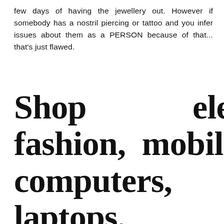few days of having the jewellery out. However if somebody has a nostril piercing or tattoo and you infer issues about them as a PERSON because of that... that's just flawed.
Shop electronics, fashion, mobile phones, computers, gaming laptops, beauty products, home improvement & office products